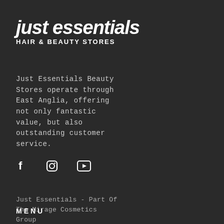just essentials HAIR & BEAUTY STORES
Just Essentials Beauty Stores operate through East Anglia, offering not only fantastic value, but also outstanding customer service.
[Figure (infographic): Three social media icons: Facebook (f), Instagram (camera), YouTube (play button)]
Just Essentials - Part Of The Mirage Cosmetics Group
MENU